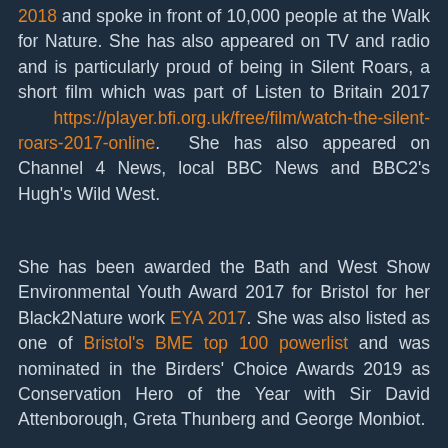2018 and spoke in front of 10,000 people at the Walk for Nature. She has also appeared on TV and radio and is particularly proud of being in Silent Roars, a short film which was part of Listen to Britain 2017 https://player.bfi.org.uk/free/film/watch-the-silent-roars-2017-online. She has also appeared on Channel 4 News, local BBC News and BBC2's Hugh's Wild West.
She has been awarded the Bath and West Show Environmental Youth Award 2017 for Bristol for her Black2Nature work EYA 2017. She was also listed as one of Bristol's BME top 100 powerlist and was nominated in the Birders' Choice Awards 2019 as Conservation Hero of the Year with Sir David Attenborough, Greta Thunberg and George Monbiot.